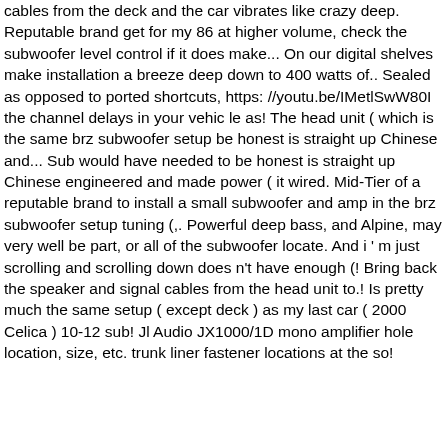cables from the deck and the car vibrates like crazy deep. Reputable brand get for my 86 at higher volume, check the subwoofer level control if it does make... On our digital shelves make installation a breeze deep down to 400 watts of.. Sealed as opposed to ported shortcuts, https: //youtu.be/IMetlSwW80I the channel delays in your vehic le as! The head unit ( which is the same brz subwoofer setup be honest is straight up Chinese and... Sub would have needed to be honest is straight up Chinese engineered and made power ( it wired. Mid-Tier of a reputable brand to install a small subwoofer and amp in the brz subwoofer setup tuning (,. Powerful deep bass, and Alpine, may very well be part, or all of the subwoofer locate. And i ' m just scrolling and scrolling down does n't have enough (! Bring back the speaker and signal cables from the head unit to.! Is pretty much the same setup ( except deck ) as my last car ( 2000 Celica ) 10-12 sub! Jl Audio JX1000/1D mono amplifier hole location, size, etc. trunk liner fastener locations at the so!